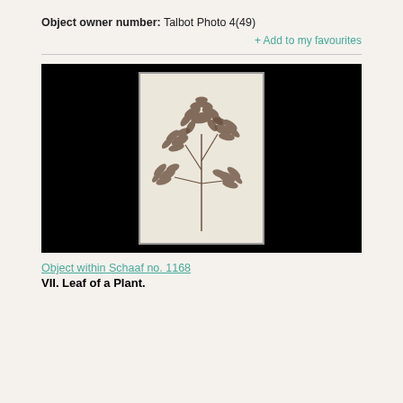Object owner number: Talbot Photo 4(49)
+ Add to my favourites
[Figure (photo): Black background with a historical photographic print showing a botanical specimen — a plant leaf/frond with multiple delicate lobed leaflets on a central stem, rendered in sepia tones on cream/ivory paper. The print is mounted or framed with a slight border.]
Object within Schaaf no. 1168
VII. Leaf of a Plant.